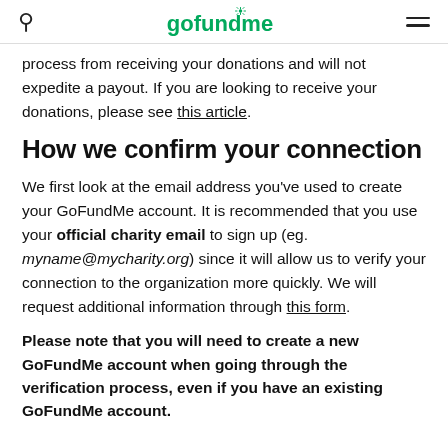gofundme
process from receiving your donations and will not expedite a payout. If you are looking to receive your donations, please see this article.
How we confirm your connection
We first look at the email address you've used to create your GoFundMe account. It is recommended that you use your official charity email to sign up (eg. myname@mycharity.org) since it will allow us to verify your connection to the organization more quickly. We will request additional information through this form.
Please note that you will need to create a new GoFundMe account when going through the verification process, even if you have an existing GoFundMe account.